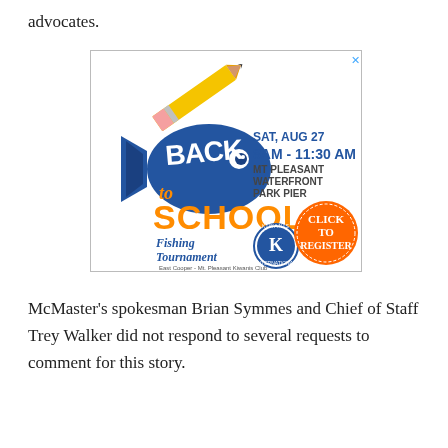advocates.
[Figure (infographic): Back to School Fishing Tournament advertisement. SAT, AUG 27 8AM - 11:30 AM MT PLEASANT WATERFRONT PARK PIER. Features a fish graphic with 'BACK to SCHOOL' text, Kiwanis International logo, orange 'CLICK TO REGISTER' button, pencil graphic. East Cooper - Mt. Pleasant Kiwanis Club.]
McMaster's spokesman Brian Symmes and Chief of Staff Trey Walker did not respond to several requests to comment for this story.